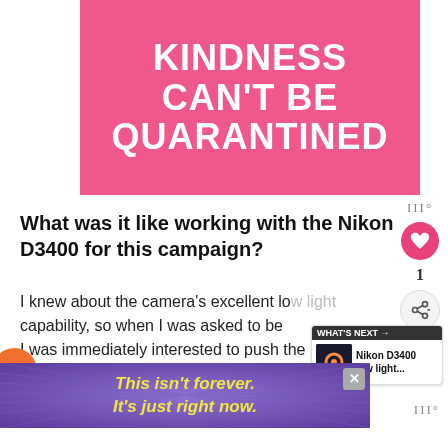[Figure (illustration): Pink background banner with white bold uppercase text reading: KINDNESS CAN'T BE QUARANTINED]
What was it like working with the Nikon D3400 for this campaign?
I knew about the camera's excellent low light capability, so when I was asked to be I was immediately interested to push the camera to its limits and achieve some
[Figure (screenshot): WHAT'S NEXT panel showing Nikon D3400 low light... with thumbnail of night sky photo]
[Figure (infographic): Purple advertisement banner with yellow italic text: This isn't forever. It's just right now. With X close button.]